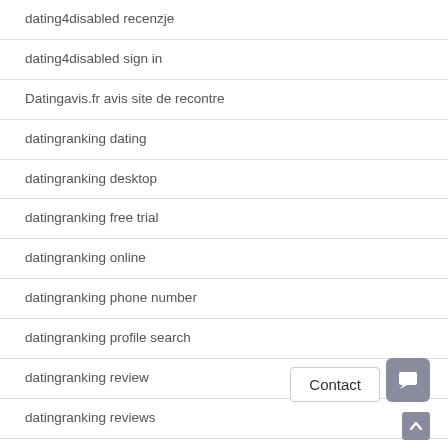dating4disabled recenzje
dating4disabled sign in
Datingavis.fr avis site de recontre
datingranking dating
datingranking desktop
datingranking free trial
datingranking online
datingranking phone number
datingranking profile search
datingranking review
datingranking reviews
datingranking visitors
DatingReviewer free hookup website